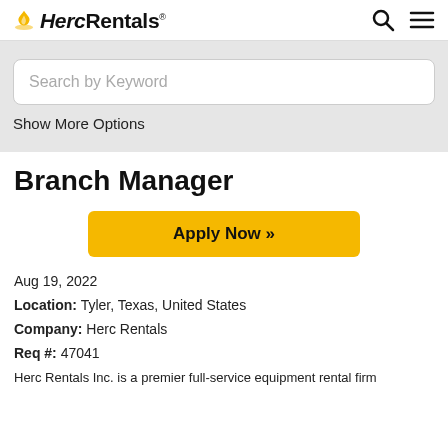HercRentals
Branch Manager
Apply Now »
Aug 19, 2022
Location: Tyler, Texas, United States
Company: Herc Rentals
Req #: 47041
Herc Rentals Inc. is a premier full-service equipment rental firm